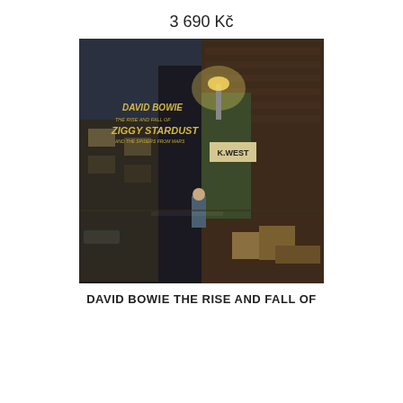3 690 Kč
[Figure (photo): Album cover of David Bowie - The Rise and Fall of Ziggy Stardust and the Spiders from Mars. Shows a nighttime alley scene with David Bowie standing in the street, brick buildings, a K.WEST sign, and the album title text in gold/yellow letters on the upper left.]
DAVID BOWIE THE RISE AND FALL OF